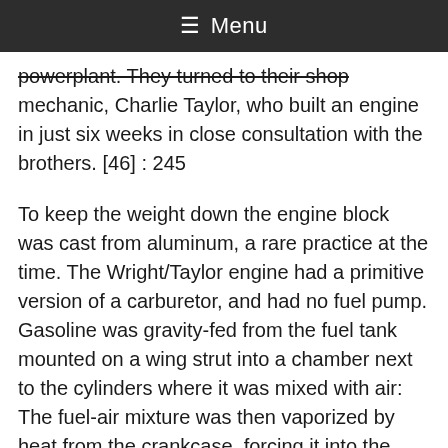≡ Menu
powerplant. They turned to their shop mechanic, Charlie Taylor, who built an engine in just six weeks in close consultation with the brothers. [46] : 245
To keep the weight down the engine block was cast from aluminum, a rare practice at the time. The Wright/Taylor engine had a primitive version of a carburetor, and had no fuel pump. Gasoline was gravity-fed from the fuel tank mounted on a wing strut into a chamber next to the cylinders where it was mixed with air: The fuel-air mixture was then vaporized by heat from the crankcase, forcing it into the cylinders. [59]